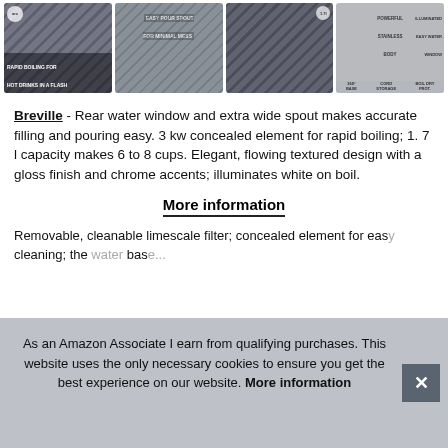[Figure (photo): Four product images of a Breville kettle: showing rapid boiling text, easy-pour spout, side view of kettle, and labeled diagram with features]
Breville - Rear water window and extra wide spout makes accurate filling and pouring easy. 3 kw concealed element for rapid boiling; 1. 7 l capacity makes 6 to 8 cups. Elegant, flowing textured design with a gloss finish and chrome accents; illuminates white on boil.
More information
Removable, cleanable limescale filter; concealed element for easy cleaning; the ... base ...
As an Amazon Associate I earn from qualifying purchases. This website uses the only necessary cookies to ensure you get the best experience on our website. More information